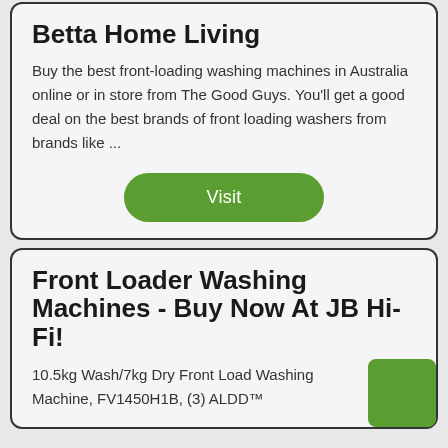Betta Home Living
Buy the best front-loading washing machines in Australia online or in store from The Good Guys. You'll get a good deal on the best brands of front loading washers from brands like ...
Visit
Front Loader Washing Machines - Buy Now At JB Hi-Fi!
10.5kg Wash/7kg Dry Front Load Washing Machine, FV1450H1B, (3) ALDD™